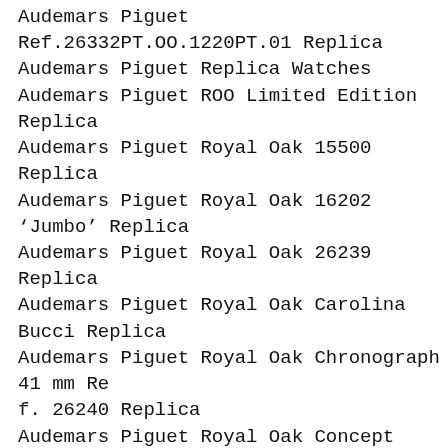Audemars Piguet Ref.26332PT.OO.1220PT.01 Replica
Audemars Piguet Replica Watches
Audemars Piguet ROO Limited Edition Replica
Audemars Piguet Royal Oak 15500 Replica
Audemars Piguet Royal Oak 16202 'Jumbo' Replica
Audemars Piguet Royal Oak 26239 Replica
Audemars Piguet Royal Oak Carolina Bucci Replica
Audemars Piguet Royal Oak Chronograph 41 mm Ref. 26240 Replica
Audemars Piguet Royal Oak Concept Flying Tourbillon GMT Replica
Audemars Piguet Royal Oak Concept Replica
Audemars Piguet Royal Oak Extra Thin Replica
Audemars Piguet Royal Oak Jumbo Replica
Audemars Piguet Royal Oak Minute Repeater Supersonnerie Replica
Audemars Piguet Royal Oak Offshore 43mm Replica
Audemars Piguet Royal Oak Offshore Diver Replica
Audemars Piguet Royal Oak Offshore Music Replica